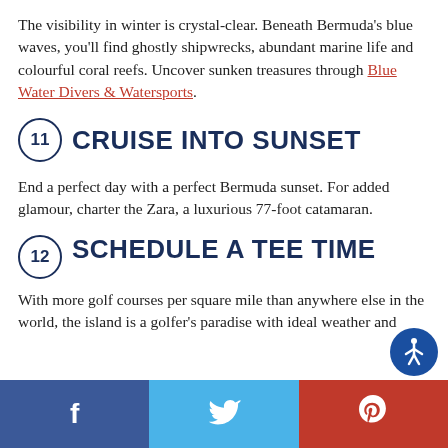The visibility in winter is crystal-clear. Beneath Bermuda's blue waves, you'll find ghostly shipwrecks, abundant marine life and colourful coral reefs. Uncover sunken treasures through Blue Water Divers & Watersports.
11 CRUISE INTO SUNSET
End a perfect day with a perfect Bermuda sunset. For added glamour, charter the Zara, a luxurious 77-foot catamaran.
12 SCHEDULE A TEE TIME
With more golf courses per square mile than anywhere else in the world, the island is a golfer's paradise with ideal weather and
Facebook  Twitter  Pinterest